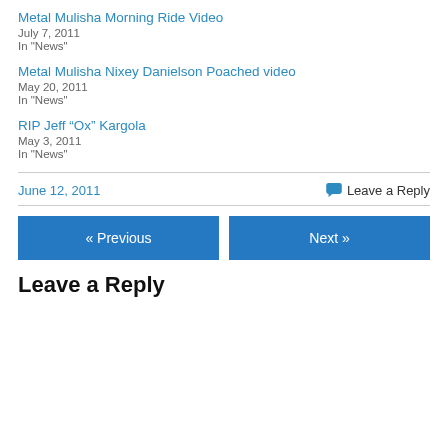Metal Mulisha Morning Ride Video
July 7, 2011
In "News"
Metal Mulisha Nixey Danielson Poached video
May 20, 2011
In "News"
RIP Jeff “Ox” Kargola
May 3, 2011
In "News"
June 12, 2011
Leave a Reply
« Previous
Next »
Leave a Reply